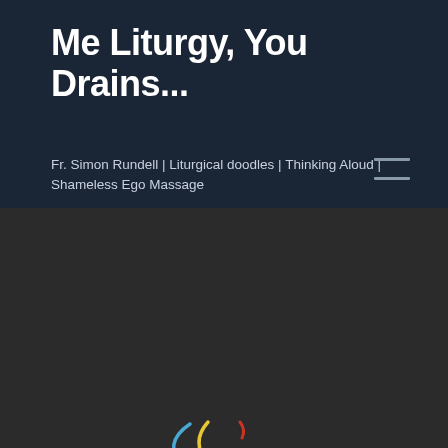Me Liturgy, You Drains...
Fr. Simon Rundell | Liturgical doodles | Thinking Aloud | Shameless Ego Massage
[Figure (illustration): Navigation hamburger menu icon with three horizontal lines]
[Figure (illustration): Colorful liturgical doodle marks: a blue curved arc, a yellow curved arc, and a small red mark on a dark background]